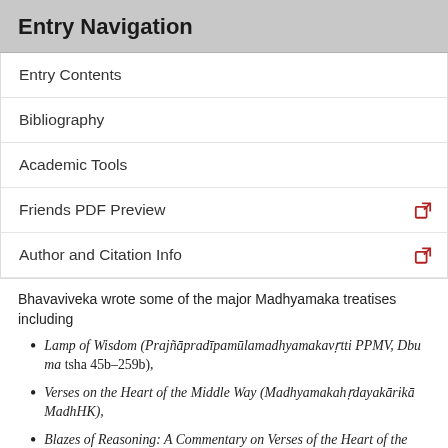Entry Navigation
Entry Contents
Bibliography
Academic Tools
Friends PDF Preview
Author and Citation Info
Bhavaviveka wrote some of the major Madhyamaka treatises including
Lamp of Wisdom (Prajñāpradīpamūlamadhyamakavṛtti PPMV, Dbu ma tsha 45b–259b),
Verses on the Heart of the Middle Way (Madhyamakahṛdayakārikā MadhHK),
Blazes of Reasoning: A Commentary on Verses of the Heart of the Middle Way (Tarkajvālā).
In these texts Bhāvaviveka rejects the Brahmanical